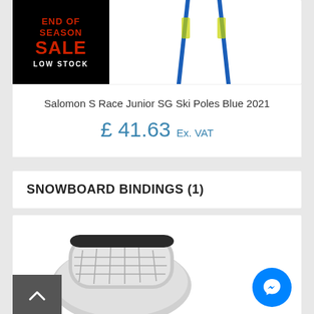[Figure (photo): Product listing card showing Salomon ski poles (blue) on white background, with a black 'End of Season Sale - Low Stock' badge in the top left corner]
Salomon S Race Junior SG Ski Poles Blue 2021
£ 41.63 Ex. VAT
SNOWBOARD BINDINGS (1)
[Figure (photo): Product listing card showing a snowboard binding in grey/white color with lattice/grid pattern design, partially visible at bottom of page]